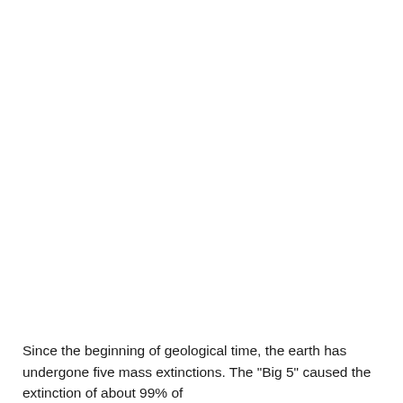Since the beginning of geological time, the earth has undergone five mass extinctions. The "Big 5" caused the extinction of about 99% of